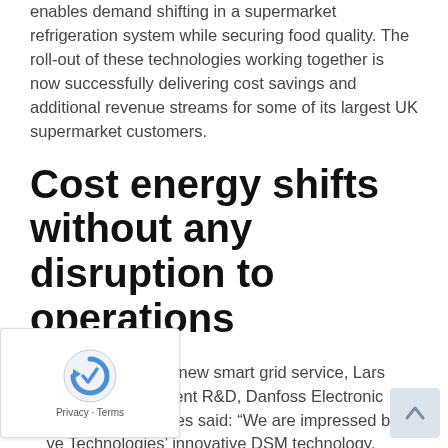enables demand shifting in a supermarket refrigeration system while securing food quality. The roll-out of these technologies working together is now successfully delivering cost savings and additional revenue streams for some of its largest UK supermarket customers.
Cost energy shifts without any disruption to operations
Commenting on the new smart grid service, Lars Overby, Vice President R&D, Danfoss Electronic Controllers & Services said: “We are impressed by …ve Technologies’ innovative DSM technology. …ing extensive trials with leading UK food retailers and supermarket chains, we have been